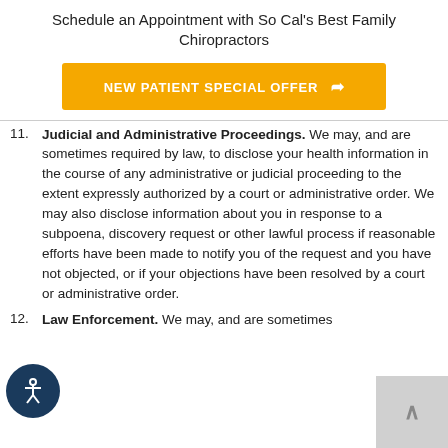Schedule an Appointment with So Cal's Best Family Chiropractors
[Figure (other): Orange call-to-action button labeled NEW PATIENT SPECIAL OFFER with a arrow/share icon]
11. Judicial and Administrative Proceedings. We may, and are sometimes required by law, to disclose your health information in the course of any administrative or judicial proceeding to the extent expressly authorized by a court or administrative order. We may also disclose information about you in response to a subpoena, discovery request or other lawful process if reasonable efforts have been made to notify you of the request and you have not objected, or if your objections have been resolved by a court or administrative order.
12. Law Enforcement. We may, and are sometimes